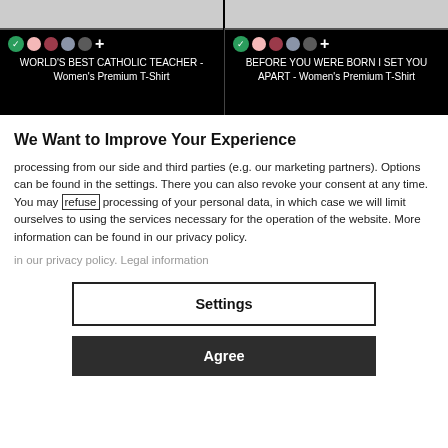[Figure (screenshot): Two product listings on a dark background showing Women's Premium T-Shirts with color swatches. Left: 'WORLD'S BEST CATHOLIC TEACHER - Women's Premium T-Shirt'. Right: 'BEFORE YOU WERE BORN I SET YOU APART - Women's Premium T-Shirt'.]
We Want to Improve Your Experience
processing from our side and third parties (e.g. our marketing partners). Options can be found in the settings. There you can also revoke your consent at any time. You may refuse processing of your personal data, in which case we will limit ourselves to using the services necessary for the operation of the website. More information can be found in our privacy policy. Legal information
Settings
Agree